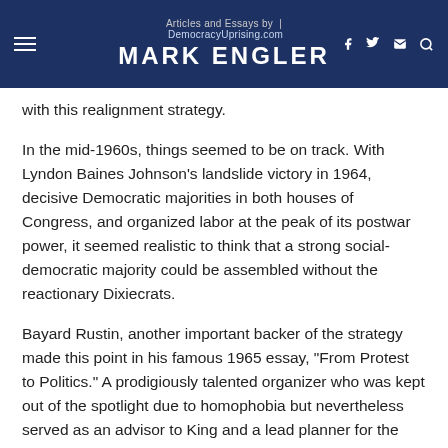Articles and Essays by | DemocracyUprising.com MARK ENGLER
with this realignment strategy.
In the mid-1960s, things seemed to be on track. With Lyndon Baines Johnson’s landslide victory in 1964, decisive Democratic majorities in both houses of Congress, and organized labor at the peak of its postwar power, it seemed realistic to think that a strong social-democratic majority could be assembled without the reactionary Dixiecrats.
Bayard Rustin, another important backer of the strategy made this point in his famous 1965 essay, “From Protest to Politics.” A prodigiously talented organizer who was kept out of the spotlight due to homophobia but nevertheless served as an advisor to King and a lead planner for the March on Washington, Rustin wrote: “It may be premature to predict a Southern Democratic party of Negroes and white moderates and a Republican Party of refugee racists and economic conservatives, but there certainly is a strong